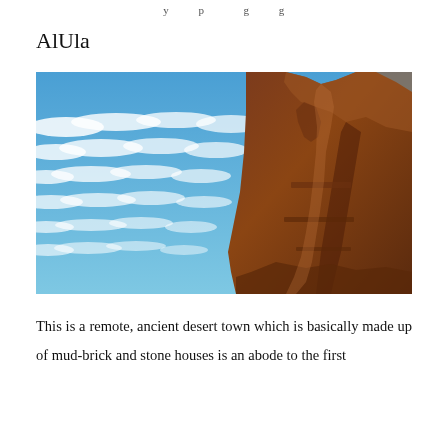y          p           g          g
AlUla
[Figure (photo): A dramatic sandstone rock formation photographed from below against a blue sky with white streaky clouds. The rock on the right side of the image is reddish-brown and eroded into a face-like profile. The sky fills the left portion with layered altocumulus clouds.]
This is a remote, ancient desert town which is basically made up of mud-brick and stone houses is an abode to the first